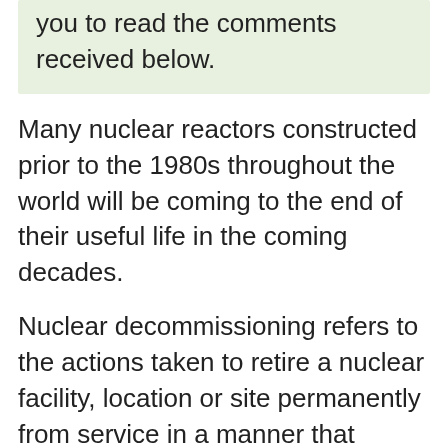you to read the comments received below.
Many nuclear reactors constructed prior to the 1980s throughout the world will be coming to the end of their useful life in the coming decades.
Nuclear decommissioning refers to the actions taken to retire a nuclear facility, location or site permanently from service in a manner that provides for the health and safety of people and protects the environment.
Decommissioning activities are subject